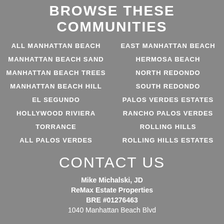BROWSE THESE COMMUNITIES
ALL MANHATTAN BEACH
EAST MANHATTAN BEACH
MANHATTAN BEACH SAND
HERMOSA BEACH
MANHATTAN BEACH TREES
NORTH REDONDO
MANHATTAN BEACH HILL
SOUTH REDONDO
EL SEGUNDO
PALOS VERDES ESTATES
HOLLYWOOD RIVIERA
RANCHO PALOS VERDES
TORRANCE
ROLLING HILLS
ALL PALOS VERDES
ROLLING HILLS ESTATES
CONTACT US
Mike Michalski, JD
ReMax Estate Properties
BRE #01276463
1040 Manhattan Beach Blvd